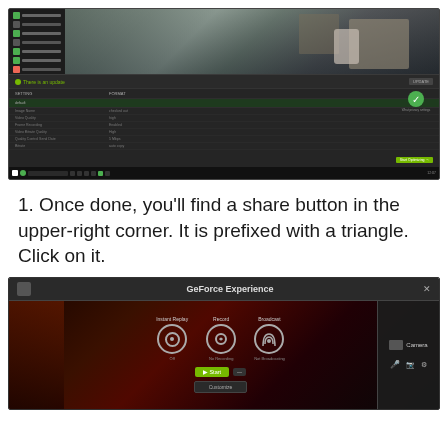[Figure (screenshot): Screenshot of NVIDIA GeForce Experience settings panel overlaid on a first-person shooter game, with a dark-themed UI showing game settings rows and a green checkmark button. Windows taskbar visible at bottom.]
1. Once done, you'll find a share button in the upper-right corner. It is prefixed with a triangle. Click on it.
[Figure (screenshot): Screenshot of NVIDIA GeForce Experience overlay panel showing Instant Replay, Record, and Broadcast controls with circular icons, a Camera section on the right, and Start/Customize buttons at the bottom. Dark fantasy game background visible.]